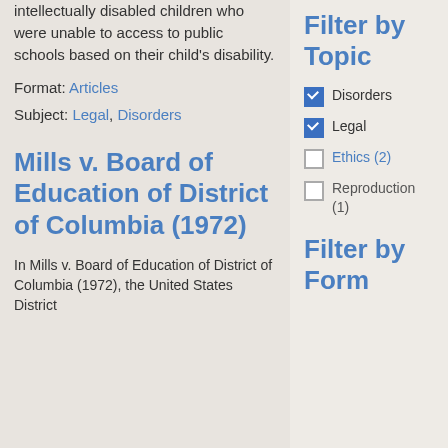intellectually disabled children who were unable to access to public schools based on their child's disability.
Format: Articles
Subject: Legal, Disorders
Mills v. Board of Education of District of Columbia (1972)
In Mills v. Board of Education of District of Columbia (1972), the United States District
Filter by Topic
Disorders (checked)
Legal (checked)
Ethics (2) (unchecked)
Reproduction (1) (unchecked)
Filter by Form